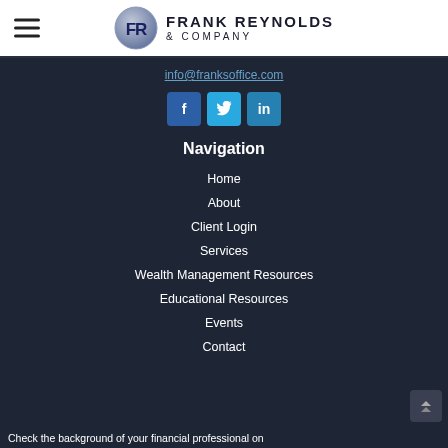[Figure (logo): Frank Reynolds & Company logo with hamburger menu icon on the left and circular FR emblem with company name on the right]
info@franksoffice.com
[Figure (infographic): Three social media icons: Facebook (f), Twitter (bird), LinkedIn (in)]
Navigation
Home
About
Client Login
Services
Wealth Management Resources
Educational Resources
Events
Contact
Check the background of your financial professional on